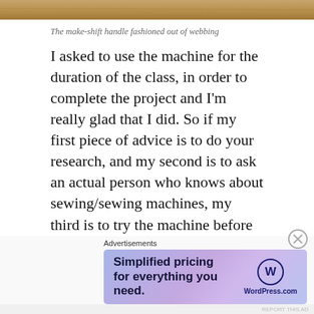[Figure (photo): Top portion of a wooden surface or handle, shown as a brown wood-grain image strip at the top of the page.]
The make-shift handle fashioned out of webbing
I asked to use the machine for the duration of the class, in order to complete the project and I'm really glad that I did. So if my first piece of advice is to do your research, and my second is to ask an actual person who knows about sewing/sewing machines, my third is to try the machine before you buy it. I used the machine for two and a half hours and fell in love with it, because it was just so simple and easy to use. I never struggled to figure out how it worked. I made mistakes with it and rectified the issues
Advertisements
[Figure (screenshot): WordPress.com advertisement banner: 'Simplified pricing for everything you need.' with WordPress.com logo on a purple/blue gradient background.]